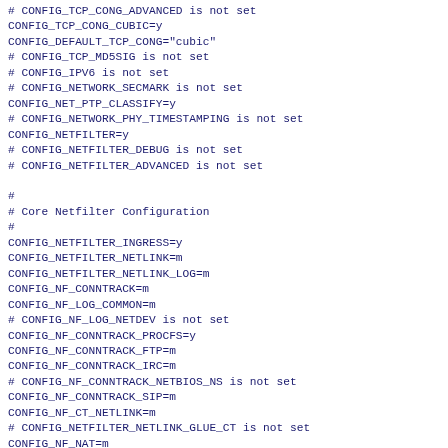# CONFIG_TCP_CONG_ADVANCED is not set
CONFIG_TCP_CONG_CUBIC=y
CONFIG_DEFAULT_TCP_CONG="cubic"
# CONFIG_TCP_MD5SIG is not set
# CONFIG_IPV6 is not set
# CONFIG_NETWORK_SECMARK is not set
CONFIG_NET_PTP_CLASSIFY=y
# CONFIG_NETWORK_PHY_TIMESTAMPING is not set
CONFIG_NETFILTER=y
# CONFIG_NETFILTER_DEBUG is not set
# CONFIG_NETFILTER_ADVANCED is not set

#
# Core Netfilter Configuration
#
CONFIG_NETFILTER_INGRESS=y
CONFIG_NETFILTER_NETLINK=m
CONFIG_NETFILTER_NETLINK_LOG=m
CONFIG_NF_CONNTRACK=m
CONFIG_NF_LOG_COMMON=m
# CONFIG_NF_LOG_NETDEV is not set
CONFIG_NF_CONNTRACK_PROCFS=y
CONFIG_NF_CONNTRACK_FTP=m
CONFIG_NF_CONNTRACK_IRC=m
# CONFIG_NF_CONNTRACK_NETBIOS_NS is not set
CONFIG_NF_CONNTRACK_SIP=m
CONFIG_NF_CT_NETLINK=m
# CONFIG_NETFILTER_NETLINK_GLUE_CT is not set
CONFIG_NF_NAT=m
CONFIG_NF_NAT_NEEDED=y
# CONFIG_NF_NAT_AMANDA is not set